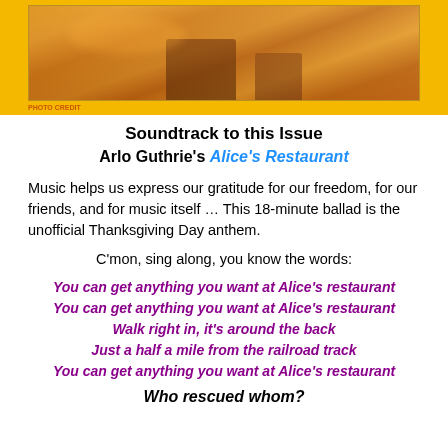[Figure (photo): Photo banner showing a warm orange/brown toned food or Thanksgiving themed image with yellow bar below]
Soundtrack to this Issue
Arlo Guthrie's Alice's Restaurant
Music helps us express our gratitude for our freedom, for our friends, and for music itself … This 18-minute ballad is the unofficial Thanksgiving Day anthem.
C'mon, sing along, you know the words:
You can get anything you want at Alice's restaurant
You can get anything you want at Alice's restaurant
Walk right in, it's around the back
Just a half a mile from the railroad track
You can get anything you want at Alice's restaurant
Who rescued whom?